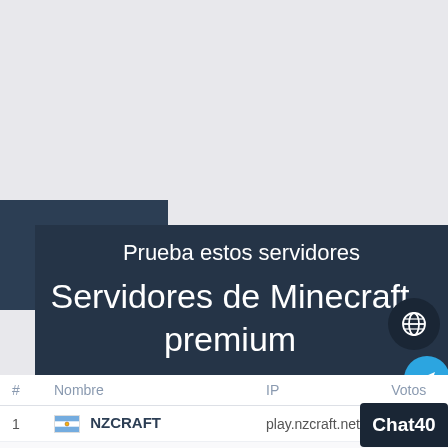Minecraft premium
Prueba estos servidores
Servidores de Minecraft premium
| # | Nombre | IP | Votos |
| --- | --- | --- | --- |
| 1 | 🇦🇷 NZCRAFT | play.nzcraft.net | 40 |